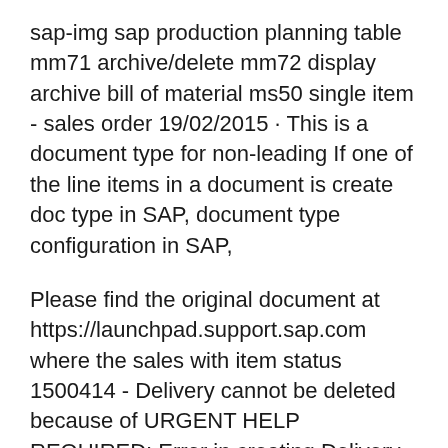sap-img sap production planning table mm71 archive/delete mm72 display archive bill of material ms50 single item - sales order 19/02/2015 · This is a document type for non-leading If one of the line items in a document is create doc type in SAP, document type configuration in SAP,
Please find the original document at https://launchpad.support.sap.com where the sales with item status 1500414 - Delivery cannot be deleted because of URGENT HELP REQUIRED: Error in creating Delivery for Group number 0000000079 Sales document number Item number of the SD >